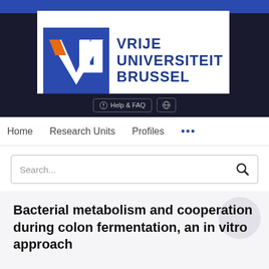[Figure (logo): Vrije Universiteit Brussel (VUB) logo with blue square containing white VUB letters and orange V accent, next to text VRIJE UNIVERSITEIT BRUSSEL in dark blue]
Help & FAQ  🌐
Home  Research Units  Profiles  ...
Search...
Bacterial metabolism and cooperation during colon fermentation, an in vitro approach